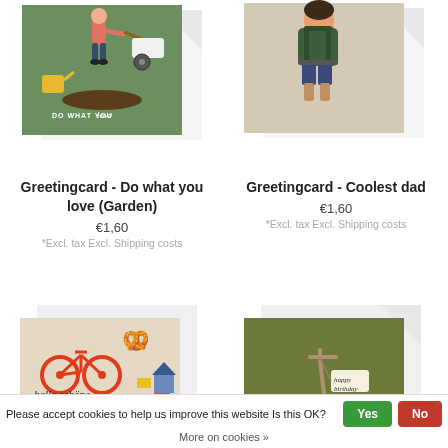[Figure (photo): Greeting card with green background showing person pushing wheelbarrow and gardening items, text 'DO WHAT YOU love']
Greetingcard - Do what you love (Garden)
€1,60
*Excl. tax Excl. Shipping costs
[Figure (photo): Greeting card with beige background showing person from behind wearing a backpack]
Greetingcard - Coolest dad
€1,60
*Excl. tax Excl. Shipping costs
[Figure (photo): Greeting card with beige background showing bicycle, pretzel, football, train and text 'hallo schöne welt']
[Figure (photo): Greeting card with dark olive green background showing a scooter/kick-bike with a 'happy birthday' tag]
Please accept cookies to help us improve this website Is this OK?
More on cookies »